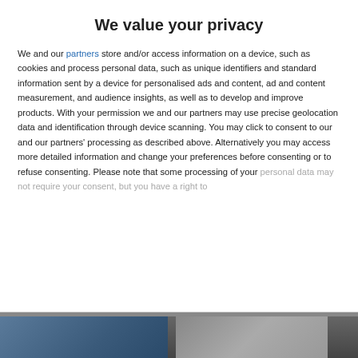We value your privacy
We and our partners store and/or access information on a device, such as cookies and process personal data, such as unique identifiers and standard information sent by a device for personalised ads and content, ad and content measurement, and audience insights, as well as to develop and improve products. With your permission we and our partners may use precise geolocation data and identification through device scanning. You may click to consent to our and our partners' processing as described above. Alternatively you may access more detailed information and change your preferences before consenting or to refuse consenting. Please note that some processing of your personal data may not require your consent, but you have a right to
AGREE
MORE OPTIONS
[Figure (photo): Photo strip at bottom of page showing partial images]